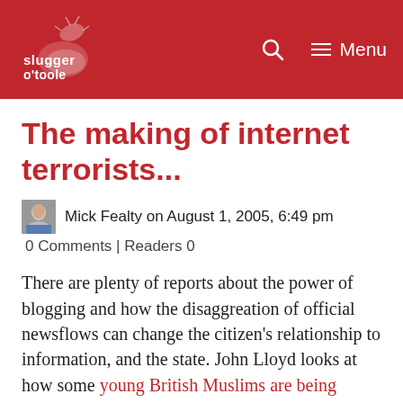Slugger O'Toole — navigation header with logo, search, and menu
The making of internet terrorists...
Mick Fealty on August 1, 2005, 6:49 pm
0 Comments | Readers 0
There are plenty of reports about the power of blogging and how the disaggreation of official newsflows can change the citizen's relationship to information, and the state. John Lloyd looks at how some young British Muslims are being radicalised by website's run from 1000's of miles away – mostly without any knowledge of